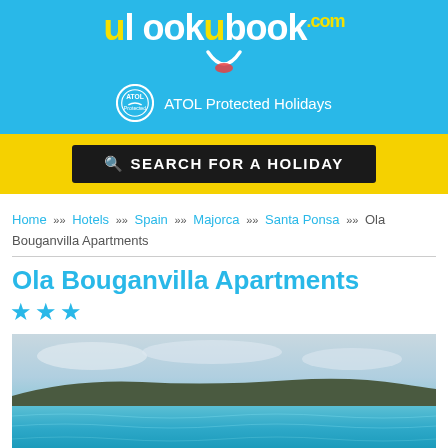[Figure (logo): ulookubook.com logo with smiley face on blue background header bar, ATOL Protected Holidays badge]
SEARCH FOR A HOLIDAY
Home » Hotels » Spain » Majorca » Santa Ponsa » Ola Bouganvilla Apartments
Ola Bouganvilla Apartments
★★★
[Figure (photo): Coastal beach photo showing turquoise sea water, distant rocky shoreline, and cloudy sky]